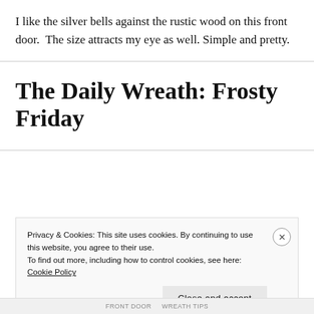I like the silver bells against the rustic wood on this front door.  The size attracts my eye as well. Simple and pretty.
The Daily Wreath: Frosty Friday
Privacy & Cookies: This site uses cookies. By continuing to use this website, you agree to their use.
To find out more, including how to control cookies, see here: Cookie Policy
Close and accept